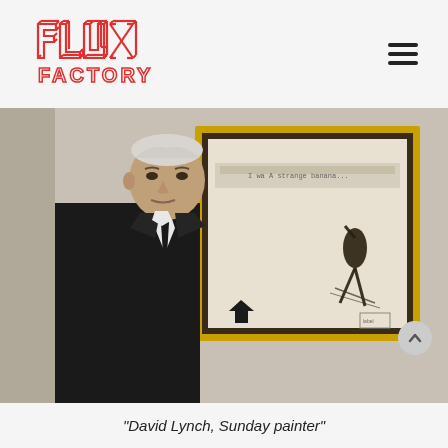Flux Factory logo and navigation
[Figure (photo): David Lynch, an elderly man with white hair wearing a black suit and tie, standing in front of a framed artwork with a gold frame showing a mixed-media piece with a dark figure and text.]
“David Lynch, Sunday painter”